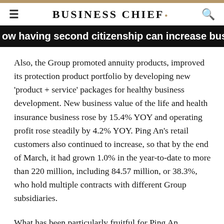BUSINESS CHIEF.
ow having second citizenship can increase business mobili
Also, the Group promoted annuity products, improved its protection product portfolio by developing new 'product + service' packages for healthy business development. New business value of the life and health insurance business rose by 15.4% YOY and operating profit rose steadily by 4.2% YOY. Ping An's retail customers also continued to increase, so that by the end of March, it had grown 1.0% in the year-to-date to more than 220 million, including 84.57 million, or 38.3%, who hold multiple contracts with different Group subsidiaries.
What has been particularly fruitful for Ping An throughout the pandemic has been the continued and growing success of its Good Doctor app, the world's leading online healthcare platform, which has posted